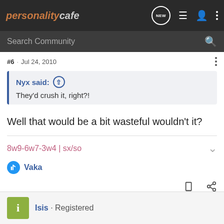personalitycafe
#6 · Jul 24, 2010
Nyx said: ↑
They'd crush it, right?!
Well that would be a bit wasteful wouldn't it?
8w9-6w7-3w4 | sx/so
Vaka
Isis · Registered